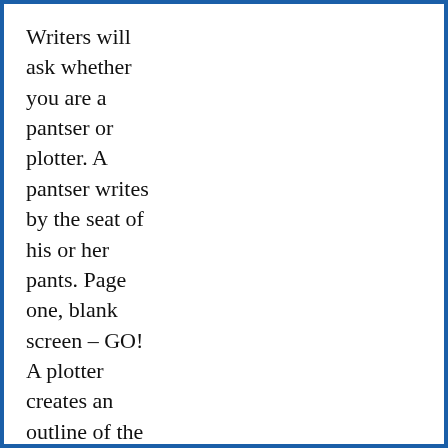Writers will ask whether you are a pantser or plotter. A pantser writes by the seat of his or her pants. Page one, blank screen – GO! A plotter creates an outline of the story before beginning. Many writers fall somewhere in between, doing some outlining, but not hesitating to depart from the outline if the story veers in a new direction. Which are you? It may take years of writing to decide. You may also